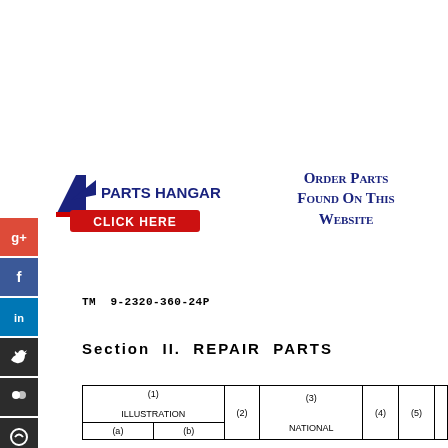[Figure (logo): Parts Hangar logo with aircraft tail graphic, company name, and red CLICK HERE button]
Order Parts Found On This Website
TM  9-2320-360-24P
Section  II.  REPAIR  PARTS
| (1) ILLUSTRATION (a) | (1) ILLUSTRATION (b) | (2) | (3) NATIONAL | (4) | (5) |
| --- | --- | --- | --- | --- | --- |